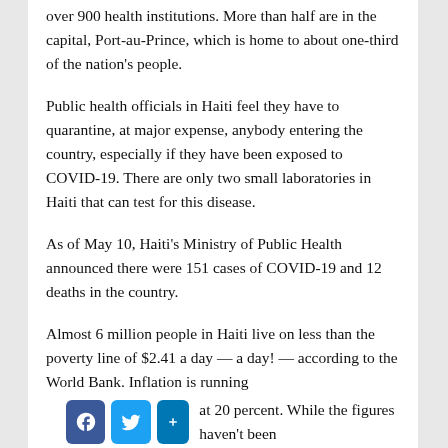over 900 health institutions. More than half are in the capital, Port-au-Prince, which is home to about one-third of the nation's people.
Public health officials in Haiti feel they have to quarantine, at major expense, anybody entering the country, especially if they have been exposed to COVID-19. There are only two small laboratories in Haiti that can test for this disease.
As of May 10, Haiti's Ministry of Public Health announced there were 151 cases of COVID-19 and 12 deaths in the country.
Almost 6 million people in Haiti live on less than the poverty line of $2.41 a day — a day! — according to the World Bank. Inflation is running at 20 percent. While the figures haven't been tabulated yet, remittances from Haitians working